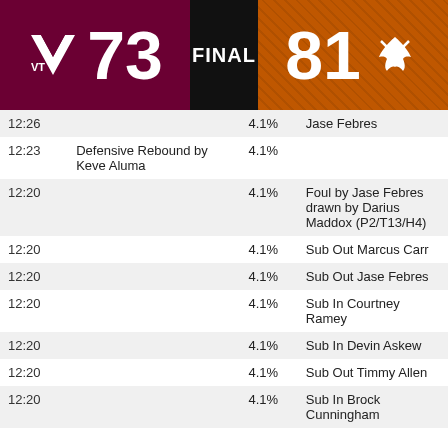[Figure (infographic): Sports scoreboard header showing Virginia Tech (VT logo) 73 FINAL 81 Texas (longhorn logo). Left side maroon background, center black, right orange textured background.]
| Time | VT Event | Win% | Texas Event |
| --- | --- | --- | --- |
| 12:26 |  | 4.1% | Jase Febres |
| 12:23 | Defensive Rebound by Keve Aluma | 4.1% |  |
| 12:20 |  | 4.1% | Foul by Jase Febres drawn by Darius Maddox (P2/T13/H4) |
| 12:20 |  | 4.1% | Sub Out Marcus Carr |
| 12:20 |  | 4.1% | Sub Out Jase Febres |
| 12:20 |  | 4.1% | Sub In Courtney Ramey |
| 12:20 |  | 4.1% | Sub In Devin Askew |
| 12:20 |  | 4.1% | Sub Out Timmy Allen |
| 12:20 |  | 4.1% | Sub In Brock Cunningham |